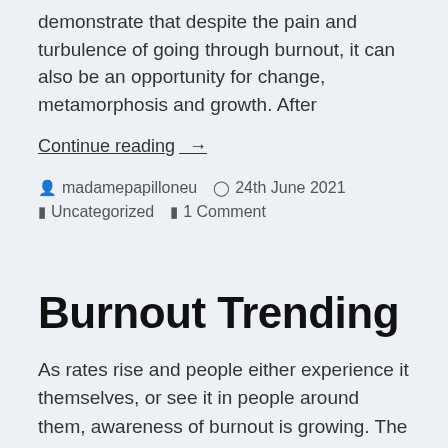demonstrate that despite the pain and turbulence of going through burnout, it can also be an opportunity for change, metamorphosis and growth. After
Continue reading →
madamepapilloneu  24th June 2021  Uncategorized  1 Comment
Burnout Trending
As rates rise and people either experience it themselves, or see it in people around them, awareness of burnout is growing. The 'classic'